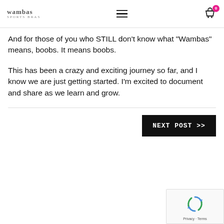wambas | NEXT POST >>
And for those of you who STILL don't know what "Wambas" means, boobs. It means boobs.
This has been a crazy and exciting journey so far, and I know we are just getting started. I'm excited to document and share as we learn and grow.
NEXT POST >>
[Figure (other): reCAPTCHA widget showing recycling arrows logo and 'Privacy - Terms' text]